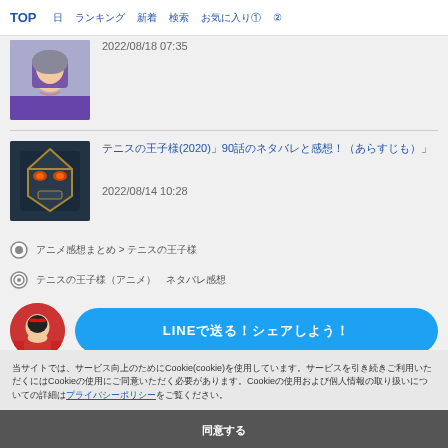TOP　日　ランキング　新着　検索　お気に入り①　②
[Figure (illustration): Purple/blue female anime avatar with hijab]
2022/08/18 07:35
[Figure (illustration): Dark armored villain anime avatar with glowing eyes]
テニスの王子様(2020)」90話のネタバレと感想！（あらすじも）」
2022/08/14 10:28
○ アニメ感想まとめ > テニスの王子様
◎ テニスの王子様（アニメ）　ネタバレ感想
[Figure (illustration): Small red-dressed female anime avatar]
LINEで送る！シェアしよう！
当サイトでは、サービス向上のためにCookie(cookie)を使用しています。サービスを引き続きご利用いただくにはCookieの使用にご同意いただく必要があります。Cookieの使用および個人情報の取り扱いについての詳細はプライバシーポリシーをご覧ください。
同意する